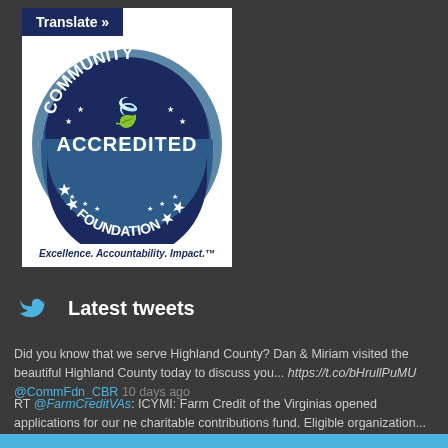[Figure (logo): Community Foundation Accredited logo — circular seal with 'COMMUNITY' at top, 'ACCREDITED' in center band, 'FOUNDATION' at bottom, stars around the border, and a leaf/wing emblem at top center. Colors: dark navy and steel blue on white background.]
Excellence. Accountability. Impact.™
Latest tweets
Did you know that we serve Highland County? Dan & Miriam visited the beautiful Highland County today to discuss you... https://t.co/bHrullPuMU @CommFdn_CBR 10 days ago
RT @FarmCreditVAs: ICYMI: Farm Credit of the Virginias opened applications for our ne charitable contributions fund. Eligible organization... @CommFdn_CBR 10 days ago